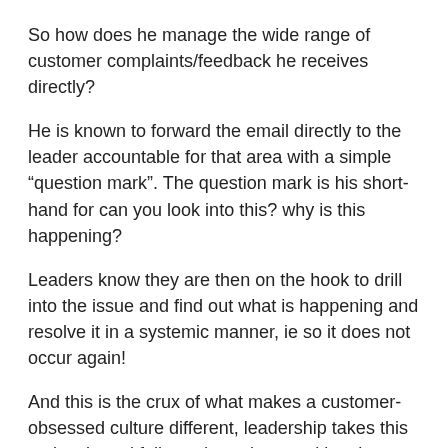So how does he manage the wide range of customer complaints/feedback he receives directly?
He is known to forward the email directly to the leader accountable for that area with a simple “question mark”. The question mark is his short-hand for can you look into this? why is this happening?
Leaders know they are then on the hook to drill into the issue and find out what is happening and resolve it in a systemic manner, ie so it does not occur again!
And this is the crux of what makes a customer-obsessed culture different, leadership takes this seriously and follows through on making the changes necessary so that the source of the complaint is eliminated…. this simply does not happen in most organizations.